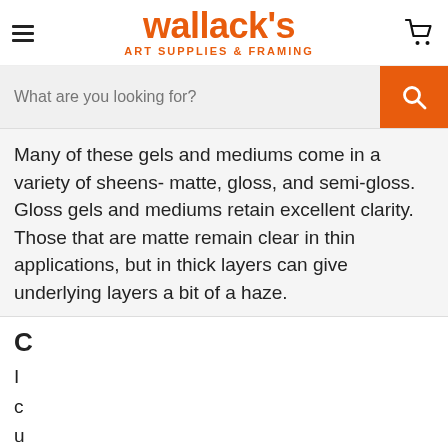wallack's ART SUPPLIES & FRAMING
What are you looking for?
Many of these gels and mediums come in a variety of sheens- matte, gloss, and semi-gloss. Gloss gels and mediums retain excellent clarity. Those that are matte remain clear in thin applications, but in thick layers can give underlying layers a bit of a haze.
C
I
c
u
t
m
a